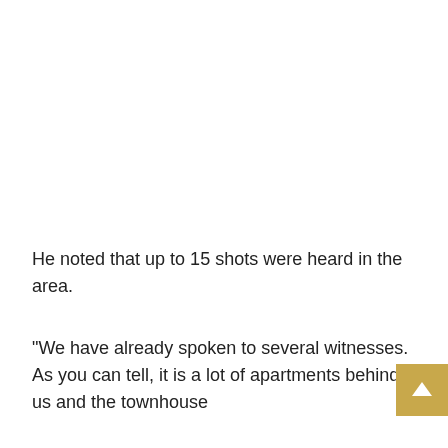He noted that up to 15 shots were heard in the area.
"We have already spoken to several witnesses. As you can tell, it is a lot of apartments behind us and the townhouse